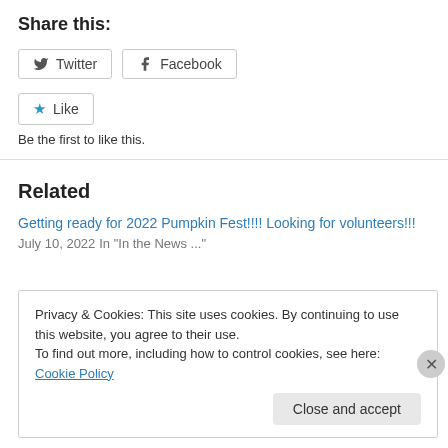Share this:
[Figure (other): Twitter and Facebook share buttons]
[Figure (other): Like button with star icon]
Be the first to like this.
Related
Getting ready for 2022 Pumpkin Fest!!!! Looking for volunteers!!!
July 10, 2022
In "In the News ..."
Privacy & Cookies: This site uses cookies. By continuing to use this website, you agree to their use.
To find out more, including how to control cookies, see here: Cookie Policy
Close and accept